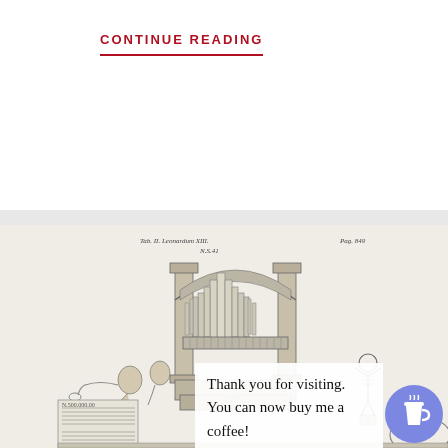CONTINUE READING
[Figure (illustration): Historical engraving of a pipe organ with decorative figures including musicians and a skeleton automaton, plus musical score details at the bottom]
Thank you for visiting. You can now buy me a coffee!
[Figure (logo): Buy me a coffee circular button icon with coffee cup]